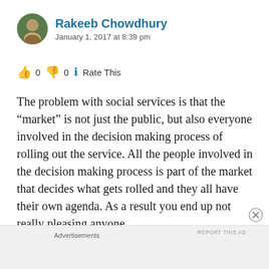Rakeeb Chowdhury
January 1, 2017 at 8:39 pm
👍 0 👎 0 ℹ Rate This
The problem with social services is that the “market” is not just the public, but also everyone involved in the decision making process of rolling out the service. All the people involved in the decision making process is part of the market that decides what gets rolled and they all have their own agenda. As a result you end up not really pleasing anyone.
Advertisements